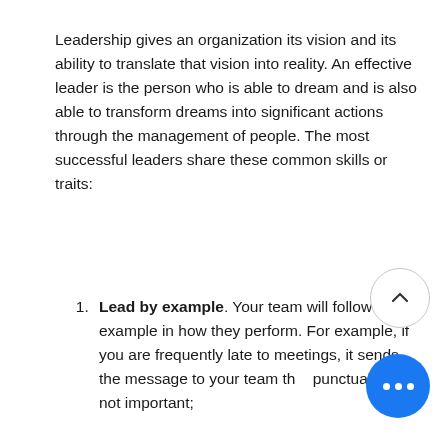Leadership gives an organization its vision and its ability to translate that vision into reality. An effective leader is the person who is able to dream and is also able to transform dreams into significant actions through the management of people. The most successful leaders share these common skills or traits:
Lead by example. Your team will follow your example in how they perform. For example, if you are frequently late to meetings, it sends the message to your team that punctuality is not important;